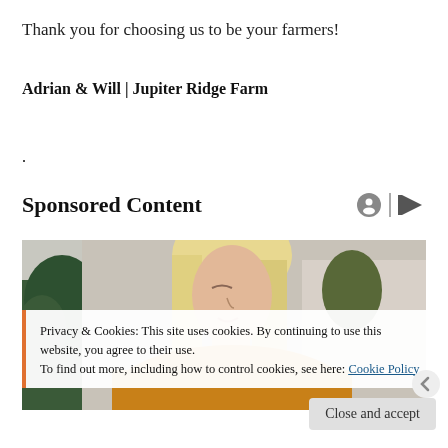Thank you for choosing us to be your farmers!
Adrian & Will | Jupiter Ridge Farm
.
Sponsored Content
[Figure (photo): Woman with blonde hair looking downward, wearing yellow/orange top, with plants in background]
Privacy & Cookies: This site uses cookies. By continuing to use this website, you agree to their use.
To find out more, including how to control cookies, see here: Cookie Policy
Close and accept